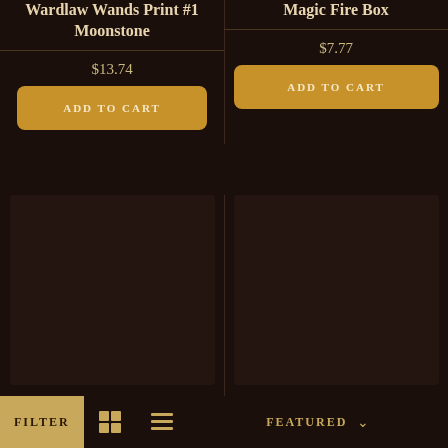Wardlaw Wands Print #1 Moonstone
Magic Fire Box
$13.74
$7.77
ADD TO CART
ADD TO CART
[Figure (photo): Dark product image placeholder for Dragonologist Care Kit]
[Figure (photo): Dark product image placeholder for Nocturne Enchanted Distillery Potion]
Dragonologist Care Kit
Nocturne Enchanted Distillery Potion
FILTER
FEATURED